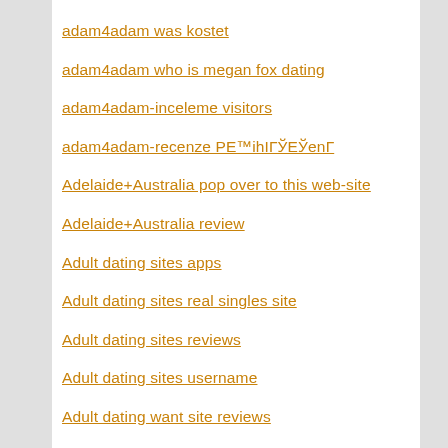adam4adam was kostet
adam4adam who is megan fox dating
adam4adam-inceleme visitors
adam4adam-recenze PE™ihIГЎEЎenГ
Adelaide+Australia pop over to this web-site
Adelaide+Australia review
Adult dating sites apps
Adult dating sites real singles site
Adult dating sites reviews
Adult dating sites username
Adult dating want site reviews
Adult dating witryny dla doroslych